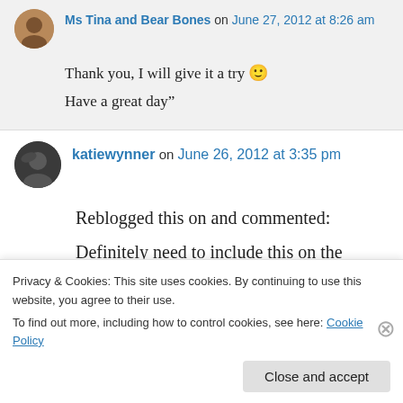Ms Tina and Bear Bones on June 27, 2012 at 8:26 am
Thank you, I will give it a try 🙂 Have a great day”
katiewynner on June 26, 2012 at 3:35 pm
Reblogged this on and commented: Definitely need to include this on the fourth of July drink list.
Privacy & Cookies: This site uses cookies. By continuing to use this website, you agree to their use. To find out more, including how to control cookies, see here: Cookie Policy